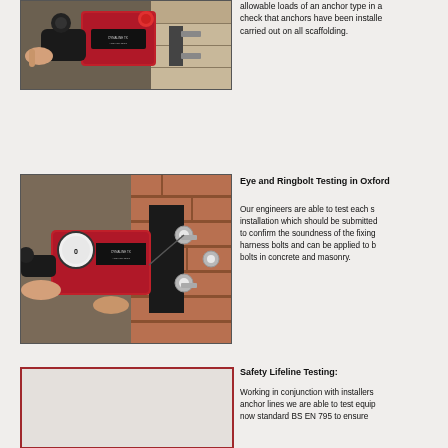[Figure (photo): Close-up photo of a hand holding a red and black hydraulic anchor testing device against a wall fixture]
allowable loads of an anchor type in a check that anchors have been installed carried out on all scaffolding.
[Figure (photo): Photo of hands operating a red and black hydraulic bolt testing device pressed against eye bolts mounted in a brick wall]
Eye and Ringbolt Testing in Oxford
Our engineers are able to test each s installation which should be submitted to confirm the soundness of the fixing harness bolts and can be applied to b bolts in concrete and masonry.
[Figure (photo): Red-bordered image placeholder for safety lifeline testing photo]
Safety Lifeline Testing:
Working in conjunction with installers anchor lines we are able to test equip now standard BS EN 795 to ensure